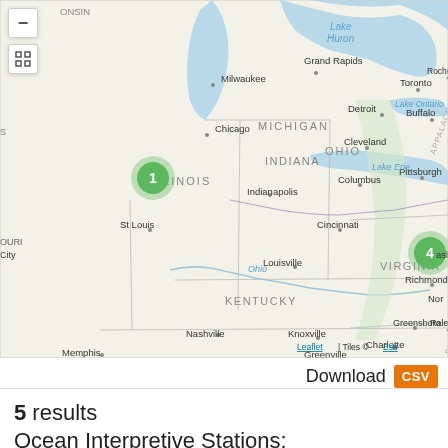[Figure (map): Interactive Leaflet map showing the eastern United States including states such as Illinois, Indiana, Ohio, Michigan, Kentucky, Virginia, North Carolina, Tennessee, and parts of surrounding states and Canada. Two green numbered cluster markers are visible: marker '1' near Chicago/Milwaukee area, and marker '4' near Washington DC area. Major cities labeled include Milwaukee, Grand Rapids, Detroit, Toronto, Rochester, Buffalo, Chicago, Cleveland, Pittsburgh, Indianapolis, Columbus, Cincinnati, St Louis, Louisville, Richmond, Norfolk, Nashville, Knoxville, Greensboro, Raleigh, Memphis, Charlotte, Greenville, Atlanta. Water bodies labeled include Lake Huron, Lake Erie, Lake Ontario, Ohio River. Geographic regions labeled include Michigan, Illinois, Indiana, Ohio, Virginia, Kentucky, Tennessee, North Carolina, Appalachian Mountains, Piedmont. Map controls visible include a minus zoom button and a fullscreen button. Attribution reads 'Leaflet | Tiles © Esri'.]
Download CSV
5 results
Ocean Interpretive Stations: